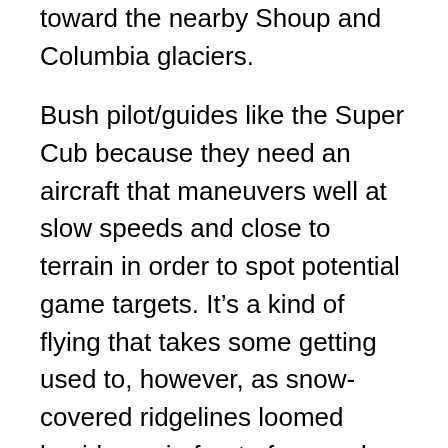Hugeline's slopes as we made our way toward the nearby Shoup and Columbia glaciers.
Bush pilot/guides like the Super Cub because they need an aircraft that maneuvers well at slow speeds and close to terrain in order to spot potential game targets. It's a kind of flying that takes some getting used to, however, as snow-covered ridgelines loomed beside us, in front of us, and then passed beneath us close enough to take my breath away at the sudden dropping-off of the earth as we sailed past their jagged, rocky peaks. As he flew, Mike pointed out several bears